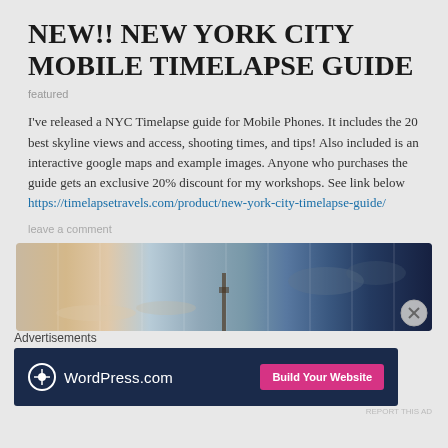NEW!! NEW YORK CITY MOBILE TIMELAPSE GUIDE
featured
I've released a NYC Timelapse guide for Mobile Phones. It includes the 20 best skyline views and access, shooting times, and tips! Also included is an interactive google maps and example images. Anyone who purchases the guide gets an exclusive 20% discount for my workshops. See link below https://timelapsetravels.com/product/new-york-city-timelapse-guide/
leave a comment
[Figure (photo): A timelapse composite image showing a city skyline (appears to be Golden Gate Bridge area) segmented into vertical strips progressing from warm daytime tones on the left to dark night tones on the right.]
Advertisements
[Figure (screenshot): WordPress.com advertisement banner with dark navy background, WordPress logo on the left, and a pink 'Build Your Website' button on the right.]